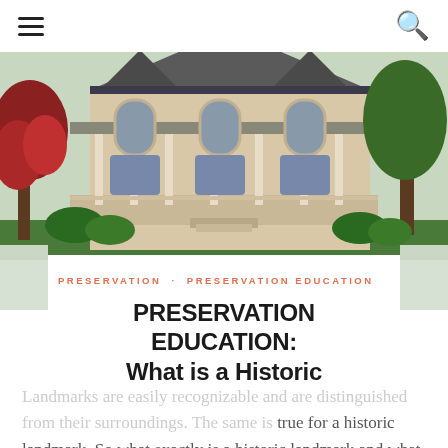≡  🔍
[Figure (photo): Photograph of a large historic Victorian-era mansion with ornate white trim, wrap-around porch, and arched windows, surrounded by trees including one with red blooms on the left.]
PRESERVATION · PRESERVATION EDUCATION
PRESERVATION EDUCATION: What is a Historic Landmark?
April 8, 2018
Landmarks are easily recognizable and are distinguished from their surroundings. The same is true for a historic landmark. So what exactly is a historic landmark and what does that mean?